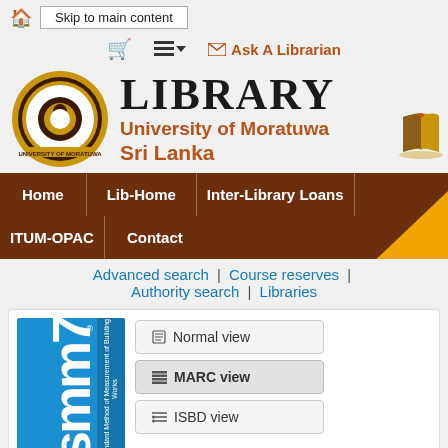Skip to main content
Ask A Librarian
[Figure (logo): University of Moratuwa circular crest/seal logo in gold and dark brown]
LIBRARY University of Moratuwa Sri Lanka
[Figure (illustration): Small illustrated open book icon, gold and brown]
Home | Lib-Home | Inter-Library Loans | ITUM-OPAC | Contact
Advanced search | Course reserves | Authority search | Libraries
[Figure (photo): Blue book cover with SMM7 text rotated vertically in white]
Normal view
MARC view
ISBD view
SMM7 : standard